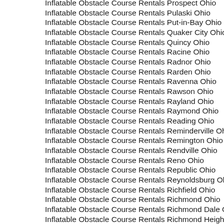Inflatable Obstacle Course Rentals Prospect Ohio
Inflatable Obstacle Course Rentals Pulaski Ohio
Inflatable Obstacle Course Rentals Put-in-Bay Ohio
Inflatable Obstacle Course Rentals Quaker City Ohio
Inflatable Obstacle Course Rentals Quincy Ohio
Inflatable Obstacle Course Rentals Racine Ohio
Inflatable Obstacle Course Rentals Radnor Ohio
Inflatable Obstacle Course Rentals Rarden Ohio
Inflatable Obstacle Course Rentals Ravenna Ohio
Inflatable Obstacle Course Rentals Rawson Ohio
Inflatable Obstacle Course Rentals Rayland Ohio
Inflatable Obstacle Course Rentals Raymond Ohio
Inflatable Obstacle Course Rentals Reading Ohio
Inflatable Obstacle Course Rentals Reminderville Ohio
Inflatable Obstacle Course Rentals Remington Ohio
Inflatable Obstacle Course Rentals Rendville Ohio
Inflatable Obstacle Course Rentals Reno Ohio
Inflatable Obstacle Course Rentals Republic Ohio
Inflatable Obstacle Course Rentals Reynoldsburg Ohio
Inflatable Obstacle Course Rentals Richfield Ohio
Inflatable Obstacle Course Rentals Richmond Ohio
Inflatable Obstacle Course Rentals Richmond Dale Ohio
Inflatable Obstacle Course Rentals Richmond Heights Ohio
Inflatable Obstacle Course Rentals Richville Ohio
Inflatable Obstacle Course Rentals Richwood Ohio
Inflatable Obstacle Course Rentals Ridgeville Corners Ohio
Inflatable Obstacle Course Rentals Ridgeway Ohio